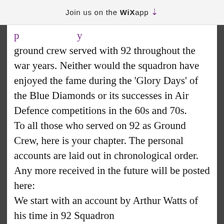Join us on the WiX app ↓
ground crew served with 92 throughout the war years. Neither would the squadron have enjoyed the fame during the 'Glory Days' of the Blue Diamonds or its successes in Air Defence competitions in the 60s and 70s.
To all those who served on 92 as Ground Crew, here is your chapter. The personal accounts are laid out in chronological order. Any more received in the future will be posted here:
We start with an account by Arthur Watts of his time in 92 Squadron